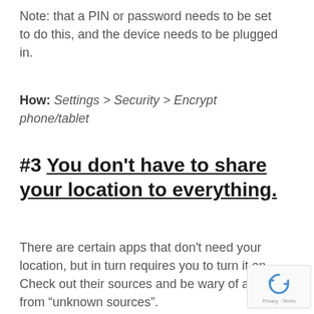Note: that a PIN or password needs to be set to do this, and the device needs to be plugged in.
How: Settings > Security > Encrypt phone/tablet
#3 You don't have to share your location to everything.
There are certain apps that don't need your location, but in turn requires you to turn it on. Check out their sources and be wary of apps from “unknown sources”.